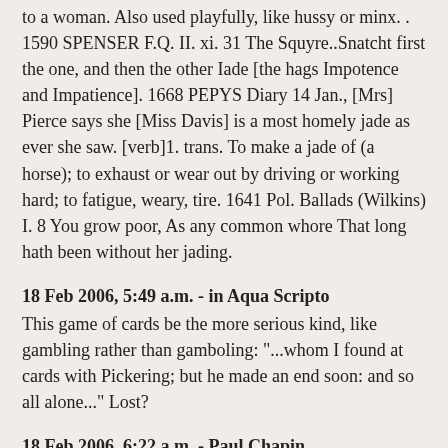to a woman. Also used playfully, like hussy or minx. . 1590 SPENSER F.Q. II. xi. 31 The Squyre..Snatcht first the one, and then the other Iade [the hags Impotence and Impatience]. 1668 PEPYS Diary 14 Jan., [Mrs] Pierce says she [Miss Davis] is a most homely jade as ever she saw. [verb]1. trans. To make a jade of (a horse); to exhaust or wear out by driving or working hard; to fatigue, weary, tire. 1641 Pol. Ballads (Wilkins) I. 8 You grow poor, As any common whore That long hath been without her jading.
18 Feb 2006, 5:49 a.m. - in Aqua Scripto
This game of cards be the more serious kind, like gambling rather than gamboling: "...whom I found at cards with Pickering; but he made an end soon: and so all alone..." Lost?
18 Feb 2006, 6:22 a.m. - Paul Chapin
"she plays pretty well for a girl" Right, Sam, I know what you mean. Jacqueline du Pre played the cello pretty well for a girl, too.